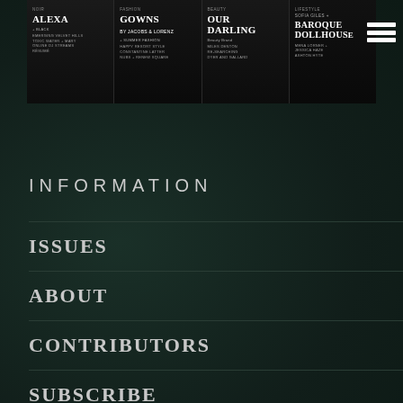[Figure (screenshot): Navigation menu overlay showing four magazine issue covers/sections: ALEXA (NOIR), GOWNS (BY JACOBS & LORENZ, SUMMER FASHION), OUR DARLING (Beauty Brand, with credits), and BAROQUE DOLLHOUSE (with contributor names)]
INFORMATION
ISSUES
ABOUT
CONTRIBUTORS
SUBSCRIBE
STOCKISTS
ADVERTISE
AUXILIARY INSIDERS